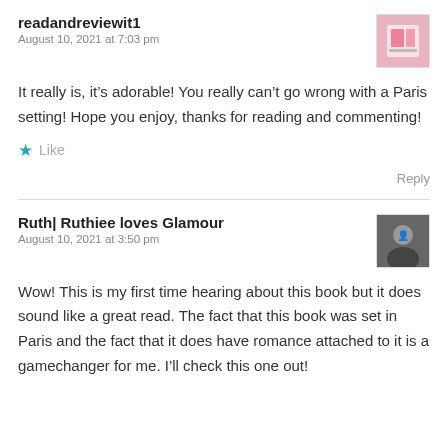readandreviewit1
August 10, 2021 at 7:03 pm
It really is, it’s adorable! You really can’t go wrong with a Paris setting! Hope you enjoy, thanks for reading and commenting!
Like
Reply
Ruth| Ruthiee loves Glamour
August 10, 2021 at 3:50 pm
Wow! This is my first time hearing about this book but it does sound like a great read. The fact that this book was set in Paris and the fact that it does have romance attached to it is a gamechanger for me. I’ll check this one out!